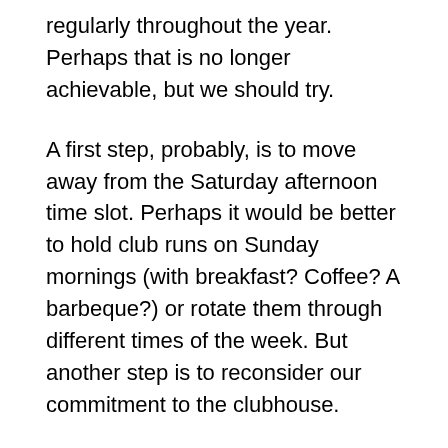regularly throughout the year. Perhaps that is no longer achievable, but we should try.
A first step, probably, is to move away from the Saturday afternoon time slot. Perhaps it would be better to hold club runs on Sunday mornings (with breakfast? Coffee? A barbeque?) or rotate them through different times of the week. But another step is to reconsider our commitment to the clubhouse.
As time goes on, the clubhouse is becoming a liability. Over the years, club members like Todd Stevens, David Lonsdale, and Marshall Clark have regularly checked in on the clubhouse and done small maintenance jobs. With fewer club members spending time at the clubhouse, there are fewer available to help keep it tidy.